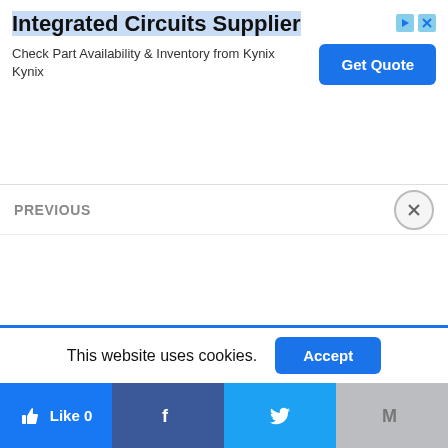[Figure (screenshot): Advertisement banner for Integrated Circuits Supplier (Kynix). Shows bold title 'Integrated Circuits Supplier', subtext 'Check Part Availability & Inventory from Kynix Kynix', and a blue 'Get Quote' button. Ad close/arrow icons in top right.]
PREVIOUS
This website uses cookies.
[Figure (screenshot): Social media sharing bar with Like 0 (Facebook like button), Facebook icon button, Twitter icon button, and Gmail/M icon button.]